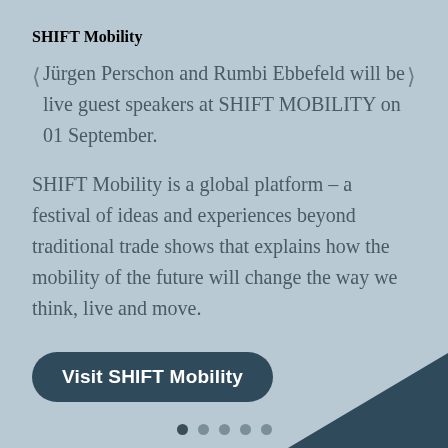SHIFT Mobility
Jürgen Perschon and Rumbi Ebbefeld will be live guest speakers at SHIFT MOBILITY on 01 September.
SHIFT Mobility is a global platform – a festival of ideas and experiences beyond traditional trade shows that explains how the mobility of the future will change the way we think, live and move.
Visit SHIFT Mobility